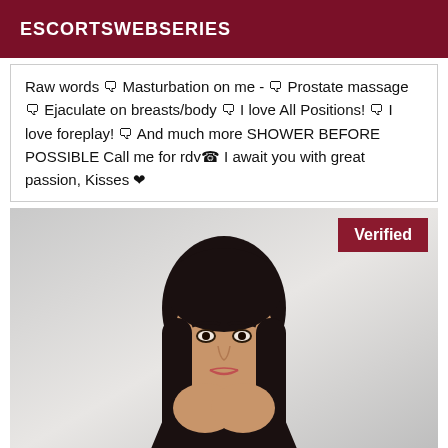ESCORTSWEBSERIES
Raw words 🗨 Masturbation on me - 🗨 Prostate massage 🗨 Ejaculate on breasts/body 🗨 I love All Positions! 🗨 I love foreplay! 🗨 And much more SHOWER BEFORE POSSIBLE Call me for rdv☎ I await you with great passion, Kisses ❤
[Figure (photo): Portrait photo of a woman with long dark hair, wearing dark lingerie, posed against a light background. A 'Verified' badge appears in the top right corner of the image.]